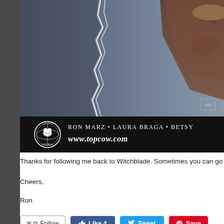[Figure (illustration): Comic book cover showing a torn paper effect with a gray background. In the upper right corner, a figure in brown/tan clothing is partially visible. The bottom bar is black with the Top Cow logo and credits reading 'Ron Marz • Laura Braga • Betsy' and 'www.topcow.com' in bold italic.]
Thanks for following me back to Witchblade. Sometimes you can go home a
Cheers,
Ron